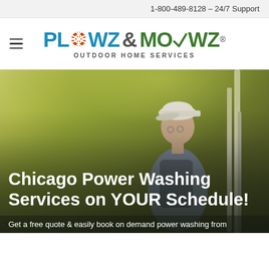1-800-489-8128 – 24/7 Support
[Figure (logo): Plowz & Mowz Outdoor Home Services logo with hamburger menu icon]
[Figure (photo): Hero image of a person wearing a cap and backpack viewed from behind, standing among trees with yellow-green foliage. Overlaid with large white text: 'Chicago Power Washing Services on YOUR Schedule!' and partial text at bottom: 'Get a free quote & easily book on demand power washing from']
Chicago Power Washing Services on YOUR Schedule!
Get a free quote & easily book on demand power washing from